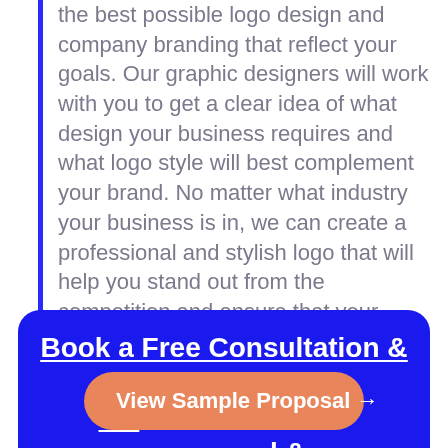Design Direct is here to provide you with the best possible logo design and company branding that reflect your goals. Our graphic designers will work with you to get a clear idea of what design your business requires and what logo style will best complement your brand. No matter what industry your business is in, we can create a professional and stylish logo that will help you stand out from the competition and ensure that your company represents its values authentically.
Book a Free Consultation & Get a Z... l &
View Sample Proposal →